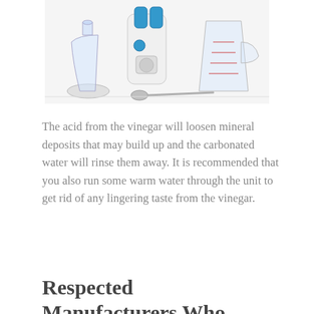[Figure (photo): Photo of water flosser cleaning supplies: a glass flask with water, a water flosser device with blue accents, a measuring cup with red markings, and a metal spoon, all on a white surface.]
The acid from the vinegar will loosen mineral deposits that may build up and the carbonated water will rinse them away. It is recommended that you also run some warm water through the unit to get rid of any lingering taste from the vinegar.
Respected Manufacturers Who